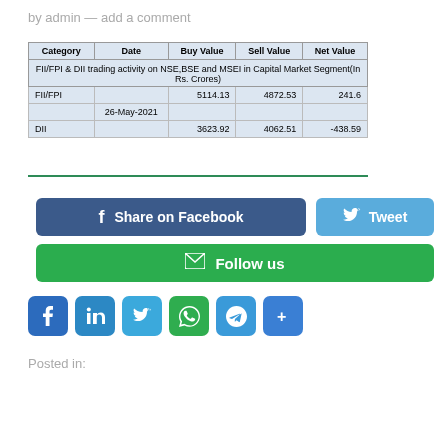by admin  —  add a comment
| Category | Date | Buy Value | Sell Value | Net Value |
| --- | --- | --- | --- | --- |
| FII/FPI |  | 5114.13 | 4872.53 | 241.6 |
|  | 26-May-2021 |  |  |  |
| DII |  | 3623.92 | 4062.51 | -438.59 |
Share on Facebook
Tweet
Follow us
Posted in: